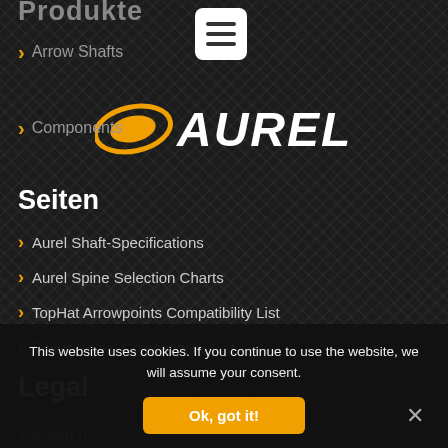Produkte
Arrow Shafts
[Figure (logo): Aurel archery brand logo — white stylized text 'AUREL' with a yellow/gold oval swoosh element on the left, on a dark background]
Components
Seiten
Aurel Shaft-Specifications
Aurel Spine Selection Charts
TopHat Arrowpoints Compatibility List
Beiter Nocks Compatibility List
Legal
About us
This website uses cookies. If you continue to use the website, we will assume your consent.
Ok, got it!